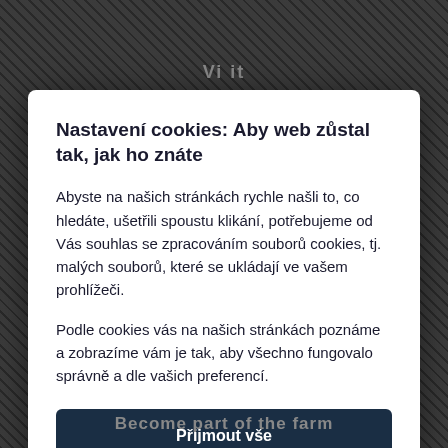Nastavení cookies: Aby web zůstal tak, jak ho znáte
Abyste na našich stránkách rychle našli to, co hledáte, ušetřili spoustu klikání, potřebujeme od Vás souhlas se zpracováním souborů cookies, tj. malých souborů, které se ukládají ve vašem prohlížeči.
Podle cookies vás na našich stránkách poznáme a zobrazíme vám je tak, aby všechno fungovalo správně a dle vašich preferencí.
Přijmout vše
Přizpůsobit